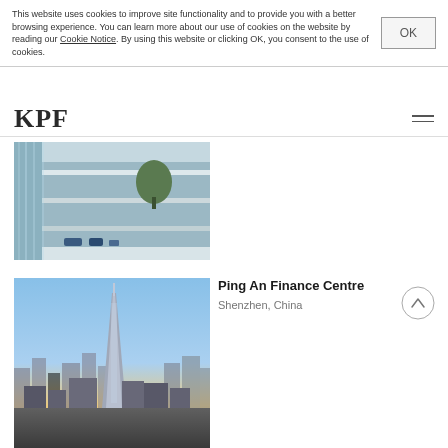This website uses cookies to improve site functionality and to provide you with a better browsing experience. You can learn more about our use of cookies on the website by reading our Cookie Notice. By using this website or clicking OK, you consent to the use of cookies.
KPF
[Figure (photo): Interior atrium of a modern office building with glass walls, multiple floors visible, trees and seating areas]
[Figure (photo): Aerial cityscape of Shenzhen, China at dusk with the Ping An Finance Centre tower prominently visible against an orange-blue sky]
Ping An Finance Centre
Shenzhen, China